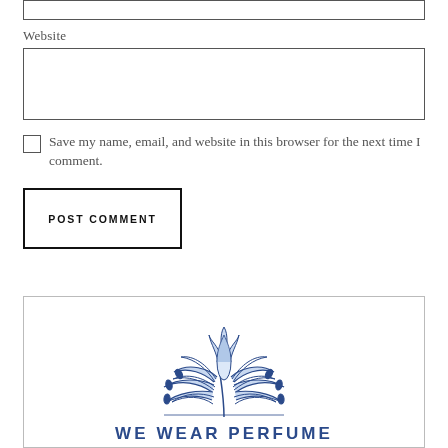Website
Save my name, email, and website in this browser for the next time I comment.
POST COMMENT
[Figure (logo): We Wear Perfume logo: a blue decorative floral/botanical illustration above the text WE WEAR PERFUME in blue uppercase letters]